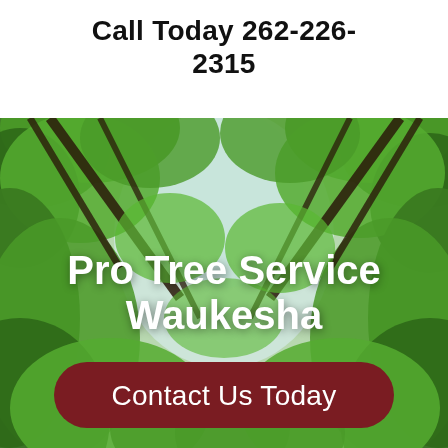Call Today 262-226-2315
[Figure (photo): Looking up through a canopy of green tree leaves with branches against a bright sky, viewed from below.]
Pro Tree Service Waukesha
Contact Us Today